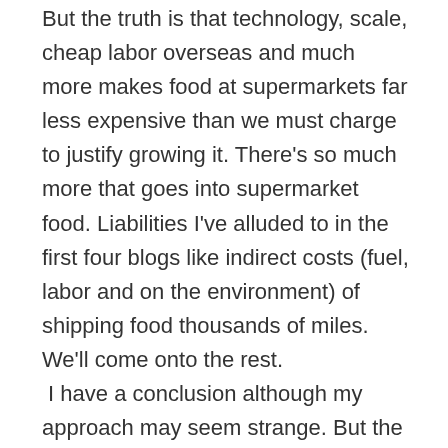But the truth is that technology, scale, cheap labor overseas and much more makes food at supermarkets far less expensive than we must charge to justify growing it. There's so much more that goes into supermarket food. Liabilities I've alluded to in the first four blogs like indirect costs (fuel, labor and on the environment) of shipping food thousands of miles. We'll come onto the rest.  I have a conclusion although my approach may seem strange. But the main message is that America could feed Americans here with local